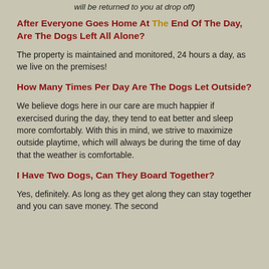will be returned to you at drop off)
After Everyone Goes Home At The End Of The Day, Are The Dogs Left All Alone?
The property is maintained and monitored, 24 hours a day, as we live on the premises!
How Many Times Per Day Are The Dogs Let Outside?
We believe dogs here in our care are much happier if exercised during the day, they tend to eat better and sleep more comfortably. With this in mind, we strive to maximize outside playtime, which will always be during the time of day that the weather is comfortable.
I Have Two Dogs, Can They Board Together?
Yes, definitely. As long as they get along they can stay together and you can save money. The second